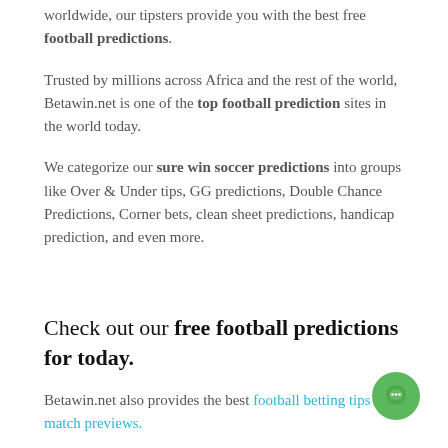worldwide, our tipsters provide you with the best free football predictions.
Trusted by millions across Africa and the rest of the world, Betawin.net is one of the top football prediction sites in the world today.
We categorize our sure win soccer predictions into groups like Over & Under tips, GG predictions, Double Chance Predictions, Corner bets, clean sheet predictions, handicap prediction, and even more.
Check out our free football predictions for today.
Betawin.net also provides the best football betting tips and match previews.
Our predictions are mainly for the English Premier League, Cups